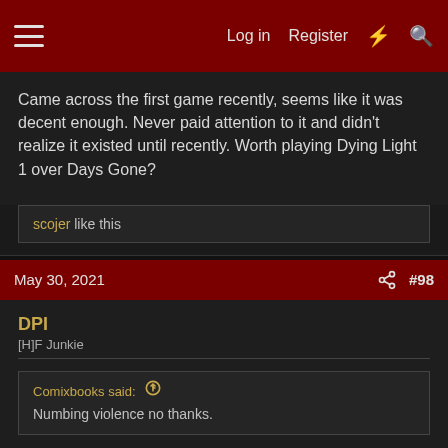Log in | Register | [what's new] | [search]
Came across the first game recently, seems like it was decent enough. Never paid attention to it and didn't realize it existed until recently. Worth playing Dying Light 1 over Days Gone?
scojer like this
May 30, 2021  #98
DPI
[H]F Junkie
Comixbooks said: ↑
Numbing violence no thanks.
piratepress said: ↑